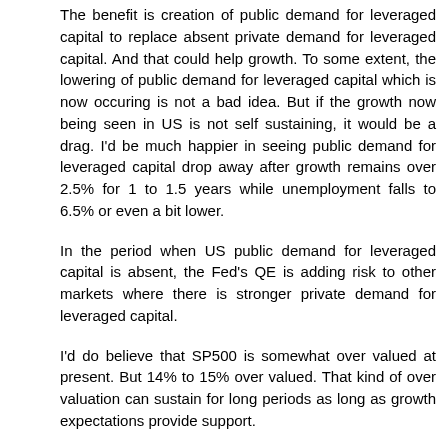The benefit is creation of public demand for leveraged capital to replace absent private demand for leveraged capital. And that could help growth. To some extent, the lowering of public demand for leveraged capital which is now occuring is not a bad idea. But if the growth now being seen in US is not self sustaining, it would be a drag. I'd be much happier in seeing public demand for leveraged capital drop away after growth remains over 2.5% for 1 to 1.5 years while unemployment falls to 6.5% or even a bit lower.
In the period when US public demand for leveraged capital is absent, the Fed's QE is adding risk to other markets where there is stronger private demand for leveraged capital.
I'd do believe that SP500 is somewhat over valued at present. But 14% to 15% over valued. That kind of over valuation can sustain for long periods as long as growth expectations provide support.
Reply